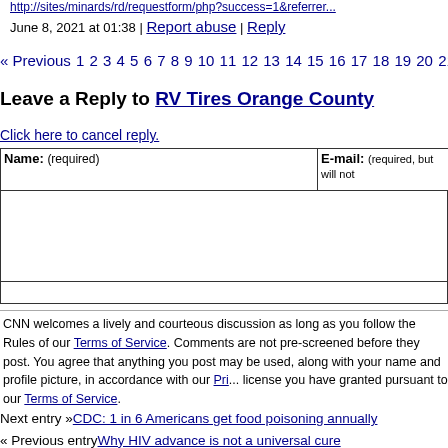http://sites/minards/rd/requestform/php?success=1&referrer...
June 8, 2021 at 01:38 | Report abuse | Reply
« Previous 1 2 3 4 5 6 7 8 9 10 11 12 13 14 15 16 17 18 19 20 21 22 »
Leave a Reply to RV Tires Orange County
Click here to cancel reply.
CNN welcomes a lively and courteous discussion as long as you follow the Rules of our Terms of Service. Comments are not pre-screened before they post. You agree that anything you post may be used, along with your name and profile picture, in accordance with our Pri... license you have granted pursuant to our Terms of Service.
Next entry »CDC: 1 in 6 Americans get food poisoning annually
« Previous entryWhy HIV advance is not a universal cure